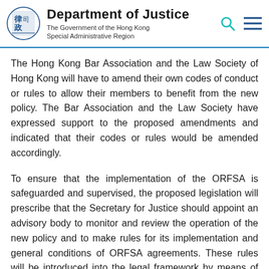Department of Justice — The Government of the Hong Kong Special Administrative Region
The Hong Kong Bar Association and the Law Society of Hong Kong will have to amend their own codes of conduct or rules to allow their members to benefit from the new policy. The Bar Association and the Law Society have expressed support to the proposed amendments and indicated that their codes or rules would be amended accordingly.
To ensure that the implementation of the ORFSA is safeguarded and supervised, the proposed legislation will prescribe that the Secretary for Justice should appoint an advisory body to monitor and review the operation of the new policy and to make rules for its implementation and general conditions of ORFSA agreements. These rules will be introduced into the legal framework by means of subsidiary legislation. An authorised body will also be set up to issue a code of practice which lists routines and standards binding on lawyers.
The safeguard measures to be introduced in the for...